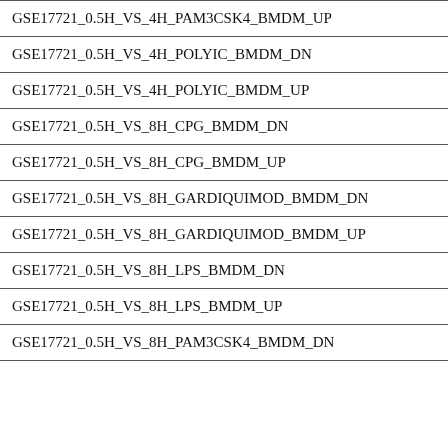| GSE17721_0.5H_VS_4H_PAM3CSK4_BMDM_UP |
| GSE17721_0.5H_VS_4H_POLYIC_BMDM_DN |
| GSE17721_0.5H_VS_4H_POLYIC_BMDM_UP |
| GSE17721_0.5H_VS_8H_CPG_BMDM_DN |
| GSE17721_0.5H_VS_8H_CPG_BMDM_UP |
| GSE17721_0.5H_VS_8H_GARDIQUIMOD_BMDM_DN |
| GSE17721_0.5H_VS_8H_GARDIQUIMOD_BMDM_UP |
| GSE17721_0.5H_VS_8H_LPS_BMDM_DN |
| GSE17721_0.5H_VS_8H_LPS_BMDM_UP |
| GSE17721_0.5H_VS_8H_PAM3CSK4_BMDM_DN |